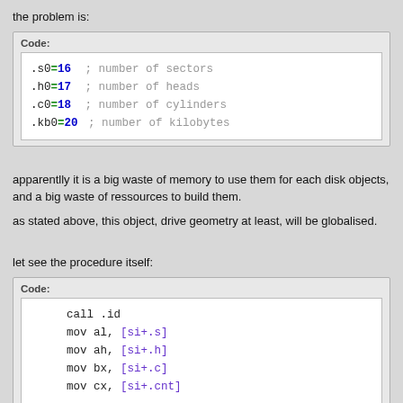the problem is:
Code:
.s0=16    ; number of sectors
.h0=17    ; number of heads
.c0=18    ; number of cylinders
.kb0=20   ; number of kilobytes
apparentlly it is a big waste of memory to use them for each disk objects, and a big waste of ressources to build them.
as stated above, this object, drive geometry at least, will be globalised.
let see the procedure itself:
Code:
call .id
mov al, [si+.s]
mov ah, [si+.h]
mov bx, [si+.c]
mov cx, [si+.cnt]